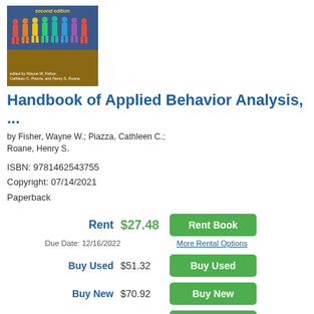[Figure (illustration): Book cover for Handbook of Applied Behavior Analysis, second edition, showing colorful silhouettes of people on a blue and brown background, edited by Wayne W. Fisher, Cathleen C. Piazza, and Henry S. Roane]
Handbook of Applied Behavior Analysis, ...
by Fisher, Wayne W.; Piazza, Cathleen C.; Roane, Henry S.
ISBN: 9781462543755
Copyright: 07/14/2021
Paperback
| Option | Price | Action |
| --- | --- | --- |
| Rent | $27.48 | Rent Book |
| Due Date: 12/16/2022 |  | More Rental Options |
| Buy Used | $51.32 | Buy Used |
| Buy New | $70.92 | Buy New |
| Buy eBook | $36.00 | Buy eBook |